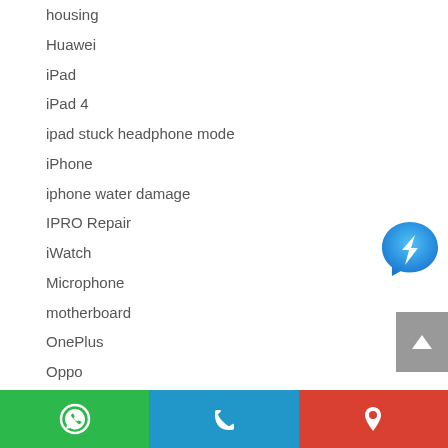housing
Huawei
iPad
iPad 4
ipad stuck headphone mode
iPhone
iphone water damage
IPRO Repair
iWatch
Microphone
motherboard
OnePlus
Oppo
Power button
[Figure (logo): Facebook Messenger icon - blue circle with white lightning bolt]
[Figure (infographic): Bottom navigation bar with WhatsApp (green), phone call (blue), and location (red) buttons]